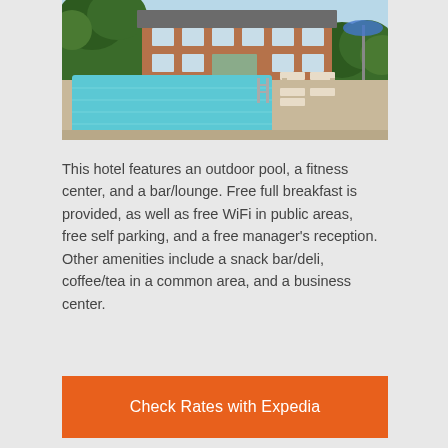[Figure (photo): Outdoor hotel pool area with lounge chairs, brick hotel building, trees and greenery in background, blue sky]
This hotel features an outdoor pool, a fitness center, and a bar/lounge. Free full breakfast is provided, as well as free WiFi in public areas, free self parking, and a free manager's reception. Other amenities include a snack bar/deli, coffee/tea in a common area, and a business center.
Check Rates with Expedia